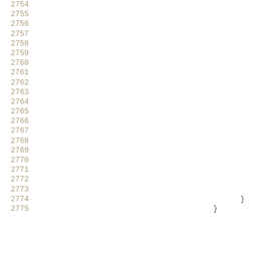2754
2755
2756
2757
2758
2759
2760
2761
2762
2763
2764
2765
2766
2767
2768
2769
2770
2771
2772
2773
2774  }
2775  }